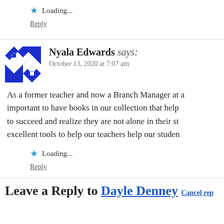★ Loading...
Reply
Nyala Edwards says: October 13, 2020 at 7:07 am
As a former teacher and now a Branch Manager at a important to have books in our collection that help to succeed and realize they are not alone in their st excellent tools to help our teachers help our studen
★ Loading...
Reply
Leave a Reply to Dayle Denney Cancel rep